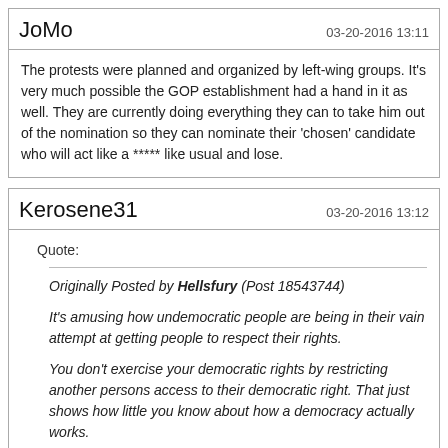JoMo
03-20-2016 13:11
The protests were planned and organized by left-wing groups. It's very much possible the GOP establishment had a hand in it as well. They are currently doing everything they can to take him out of the nomination so they can nominate their 'chosen' candidate who will act like a ***** like usual and lose.
Kerosene31
03-20-2016 13:12
Quote:
Originally Posted by Hellsfury (Post 18543744)
It's amusing how undemocratic people are being in their vain attempt at getting people to respect their rights.

You don't exercise your democratic rights by restricting another persons access to their democratic right. That just shows how little you know about how a democracy actually works.

Everyone gets a voice and then the people vote on which voice should represent the people as a whole.

If you don't like what Drumpf voice represents, then don't vote for him. You don't get to muffle him and take away his voice just because you don't like the sound of it. That's